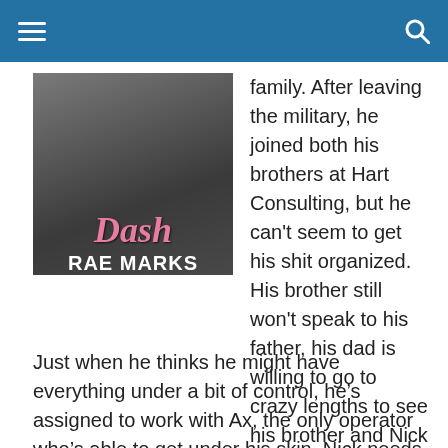[Figure (photo): Book cover of 'Dash' by Rae Marks showing a person in a grey shirt against a concrete wall. The title 'Dash' is written in pink script and the author name 'RAE MARKS' is in bold white capital letters.]
family. After leaving the military, he joined both his brothers at Hart Consulting, but he can't seem to get his shit organized. His brother still won't speak to his father, his dad is willing to go to crazy lengths to see his brother and Nick has to train for his new job.
Just when he thinks he might have everything under a bit of control, he's assigned to work with Ax, the only operator who's able to get under his skin. Nick needs to put his head down and make a good impression on his first assignment with HC. Too bad Ax is determined not to make it easy...